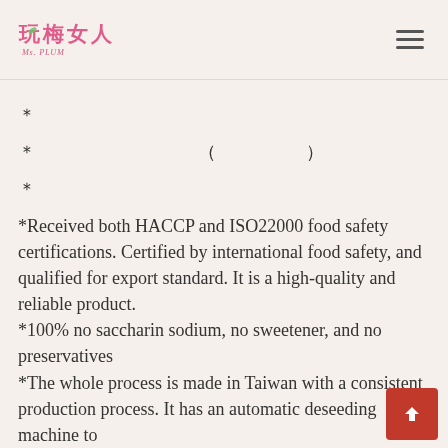Ms. PLUM logo and navigation
* (Chinese text line 1)
* (Chinese text line 2 with parenthetical)
* (Chinese text line 3)
*Received both HACCP and ISO22000 food safety certifications. Certified by international food safety, and qualified for export standard. It is a high-quality and reliable product.
*100% no saccharin sodium, no sweetener, and no preservatives
*The whole process is made in Taiwan with a consistent production process. It has an automatic deseeding machine to